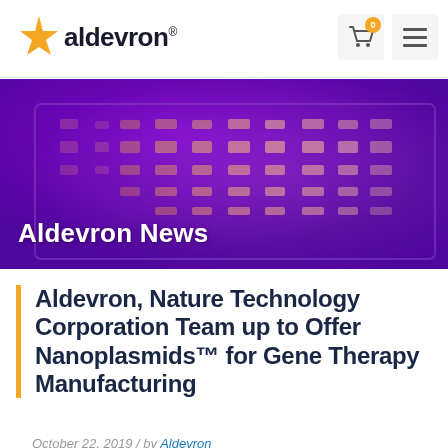Aldevron® [logo with cart icon showing 0 items and hamburger menu]
[Figure (photo): Purple UV-illuminated gel electrophoresis image showing DNA bands glowing orange on a purple background, with 'Aldevron News' text overlay in white]
Aldevron, Nature Technology Corporation Team up to Offer Nanoplasmids™ for Gene Therapy Manufacturing
October 22, 2019 / by Aldevron